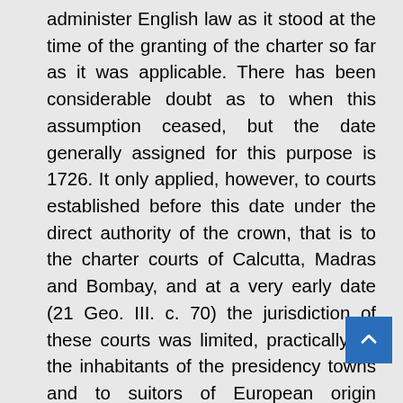administer English law as it stood at the time of the granting of the charter so far as it was applicable. There has been considerable doubt as to when this assumption ceased, but the date generally assigned for this purpose is 1726. It only applied, however, to courts established before this date under the direct authority of the crown, that is to the charter courts of Calcutta, Madras and Bombay, and at a very early date (21 Geo. III. c. 70) the jurisdiction of these courts was limited, practically, to the inhabitants of the presidency towns and to suitors of European origin residing elsewhere. Moreover, even in the presidency towns, these courts were directed to apply to Hindus and Mahommedans their own laws in regard to all matters of inheritance and succession, family law and matters relating to religion or caste. In the territories outside the presidency towns where courts of justice were established by the East India company, acting under